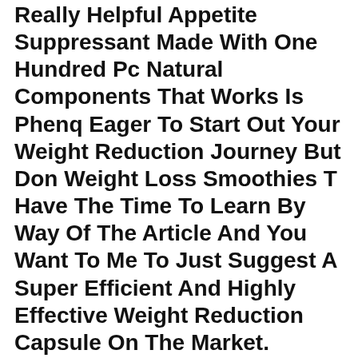Really Helpful Appetite Suppressant Made With One Hundred Pc Natural Components That Works Is Phenq Eager To Start Out Your Weight Reduction Journey But Don Weight Loss Smoothies T Have The Time To Learn By Way Of The Article And You Want To Me To Just Suggest A Super Efficient And Highly Effective Weight Reduction Capsule On The Market.
If You Re Decided About Taking Weight Loss Tablets, This Is One Of The Greatest Weight Loss Dietary Supplements You Weight Loss Plateau Will Get In The Current Market Proactol Xs Is Unique In That It Not Solely Aids Weight Loss, But Also Helps You To Maintain The Newly Achieved Physique Weight The Patented Formulation Of These Weight Loss Drugs Consists Of All Natural Components And It S Particularly Recognized For Its Use Of Neopuntia, Meal Plan For Weight Loss A Potent Element For